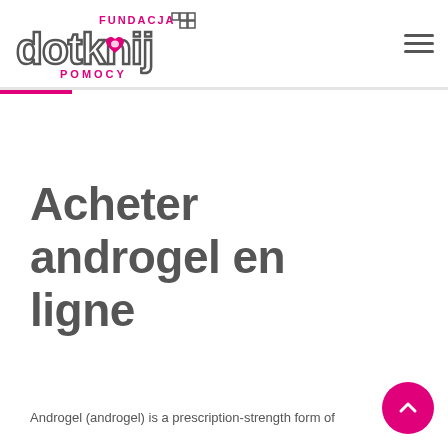[Figure (logo): Fundacja Dotknij Pomocy logo — stylized text 'dotknij' with a hand/heart icon and 'FUNDACJA' and 'POMOCY' text in pink and grey]
Acheter androgel en ligne
Androgel (androgel) is a prescription-strength form of